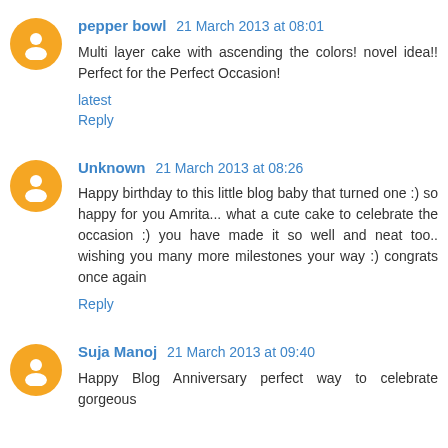pepper bowl 21 March 2013 at 08:01
Multi layer cake with ascending the colors! novel idea!! Perfect for the Perfect Occasion!
latest
Reply
Unknown 21 March 2013 at 08:26
Happy birthday to this little blog baby that turned one :) so happy for you Amrita... what a cute cake to celebrate the occasion :) you have made it so well and neat too.. wishing you many more milestones your way :) congrats once again
Reply
Suja Manoj 21 March 2013 at 09:40
Happy Blog Anniversary perfect way to celebrate gorgeous